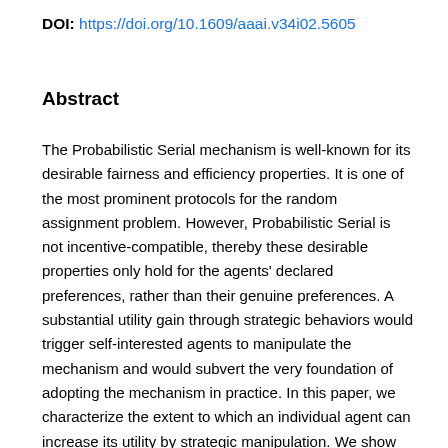DOI: https://doi.org/10.1609/aaai.v34i02.5605
Abstract
The Probabilistic Serial mechanism is well-known for its desirable fairness and efficiency properties. It is one of the most prominent protocols for the random assignment problem. However, Probabilistic Serial is not incentive-compatible, thereby these desirable properties only hold for the agents' declared preferences, rather than their genuine preferences. A substantial utility gain through strategic behaviors would trigger self-interested agents to manipulate the mechanism and would subvert the very foundation of adopting the mechanism in practice. In this paper, we characterize the extent to which an individual agent can increase its utility by strategic manipulation. We show that the incentive ratio of the mechanism is 3/2. That is, no agent can gain a utility of more than that its utility by...